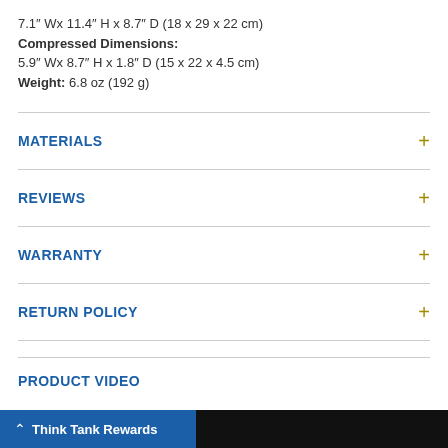7.1" Wx 11.4" H x 8.7" D (18 x 29 x 22 cm)
Compressed Dimensions:
5.9" Wx 8.7" H x 1.8" D (15 x 22 x 4.5 cm)
Weight: 6.8 oz (192 g)
MATERIALS
REVIEWS
WARRANTY
RETURN POLICY
PRODUCT VIDEO
Think Tank Rewards